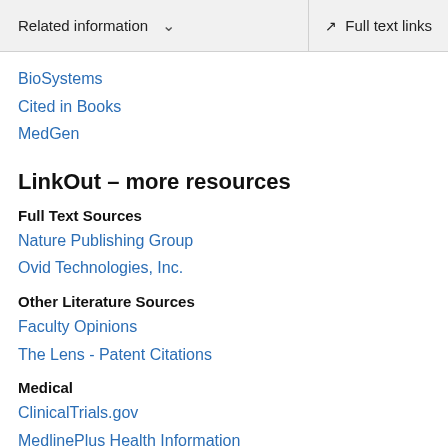Related information   Full text links
BioSystems
Cited in Books
MedGen
LinkOut – more resources
Full Text Sources
Nature Publishing Group
Ovid Technologies, Inc.
Other Literature Sources
Faculty Opinions
The Lens - Patent Citations
Medical
ClinicalTrials.gov
MedlinePlus Health Information